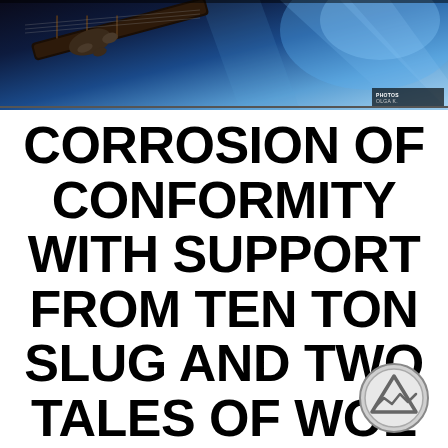[Figure (photo): Concert photo banner showing a guitarist performing on stage with blue and purple stage lighting]
CORROSION OF CONFORMITY WITH SUPPORT FROM TEN TON SLUG AND TWO TALES OF WOE AT TIVOLI THEATRE, DUBLIN ON OCTOBER 22ND.
[Figure (logo): Circular logo with upward-pointing triangle/arrow symbol with zigzag lines, grey tones]